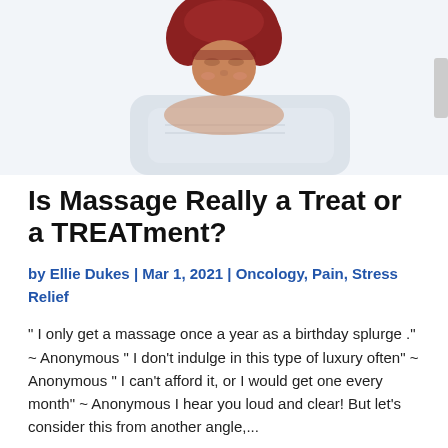[Figure (illustration): Cartoon illustration of a person with red/brown hair lying face-down on a massage table, viewed from above, partially cropped at top of page]
Is Massage Really a Treat or a TREATment?
by Ellie Dukes | Mar 1, 2021 | Oncology, Pain, Stress Relief
" I only get a massage once a year as a birthday splurge ." ~ Anonymous " I don't indulge in this type of luxury often" ~ Anonymous " I can't afford it, or I would get one every month" ~ Anonymous I hear you loud and clear! But let's consider this from another angle,...
READ MORE